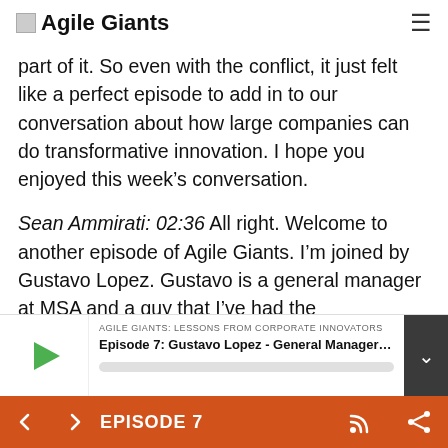Agile Giants
part of it. So even with the conflict, it just felt like a perfect episode to add in to our conversation about how large companies can do transformative innovation. I hope you enjoyed this week's conversation.
Sean Ammirati: 02:36 All right. Welcome to another episode of Agile Giants. I'm joined by Gustavo Lopez. Gustavo is a general manager at MSA and a guy that I've had the
[Figure (screenshot): Podcast player bar showing episode: AGILE GIANTS: LESSONS FROM CORPORATE INNOVATORS - Episode 7: Gustavo Lopez - General Manager at ...]
EPISODE 7